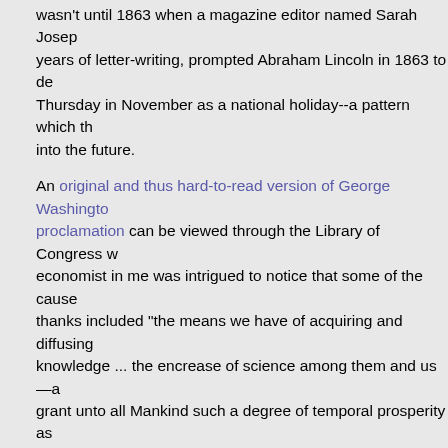wasn't until 1863 when a magazine editor named Sarah Joseph years of letter-writing, prompted Abraham Lincoln in 1863 to de Thursday in November as a national holiday--a pattern which th into the future.
An original and thus hard-to-read version of George Washington proclamation can be viewed through the Library of Congress w economist in me was intrigued to notice that some of the cause thanks included "the means we have of acquiring and diffusing knowledge ... the encrease of science among them and us—ar grant unto all Mankind such a degree of temporal prosperity as to be best."
Also, the original Thankgiving proclamation was not without so and dissent in the House of Representatives, as an example of inappropriate federal government interventionism. As reported George Washington website at the University of Virginia.
The House was not unanimous in its determination to giv Aedanus Burke of South Carolina objected that he "did n mimicking of European customs, where they made a me of thanksgivings." Thomas Tudor Tucker "thought the Ho